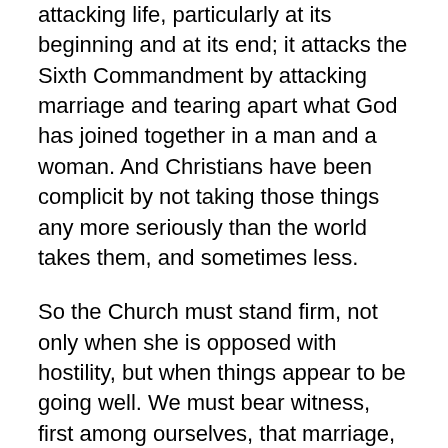attacking life, particularly at its beginning and at its end; it attacks the Sixth Commandment by attacking marriage and tearing apart what God has joined together in a man and a woman. And Christians have been complicit by not taking those things any more seriously than the world takes them, and sometimes less.
So the Church must stand firm, not only when she is opposed with hostility, but when things appear to be going well. We must bear witness, first among ourselves, that marriage, parents, and life are good gifts of God that the commandments are meant to protect. We will repent for our failures, and we will live from the forgiveness of Christ. And then we must work and pray for the good of mothers and fathers; we must work and pray for the good of lives God has created and for whom Jesus has died, both in the womb and in the nursing home, and everywhere in